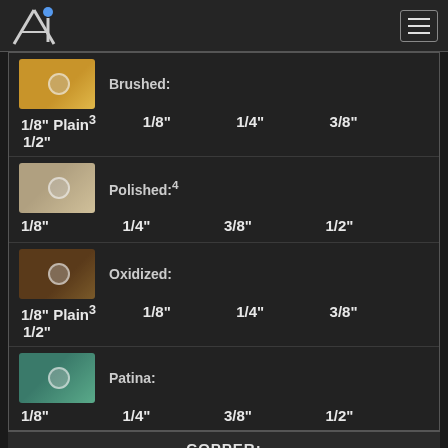Ai logo and navigation menu
[Figure (photo): Brushed brass finish swatch with screw]
Brushed:
1/8" Plain3  1/8"  1/4"  3/8"  1/2"
[Figure (photo): Polished finish swatch with screw]
Polished:4
1/8"  1/4"  3/8"  1/2"
[Figure (photo): Oxidized finish swatch with screw]
Oxidized:
1/8" Plain3  1/8"  1/4"  3/8"  1/2"
[Figure (photo): Patina finish swatch with screw]
Patina:
1/8"  1/4"  3/8"  1/2"
COPPER:
[Figure (photo): Brushed copper finish swatch with screw]
Brushed: